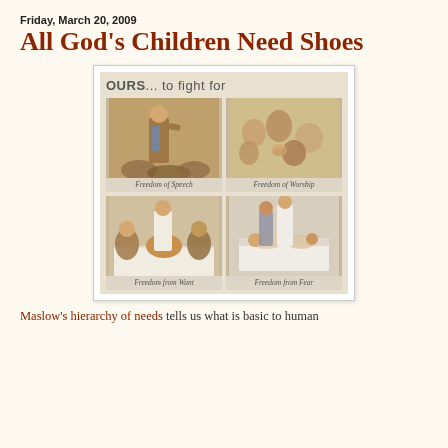Friday, March 20, 2009
All God's Children Need Shoes
[Figure (illustration): Norman Rockwell's Four Freedoms poster: 'OURS...to fight for' showing four panels: Freedom of Speech (man standing at town meeting), Freedom of Worship (people praying), Freedom from Want (family Thanksgiving dinner), Freedom from Fear (parents tucking children into bed)]
Maslow's hierarchy of needs tells us what is basic to human